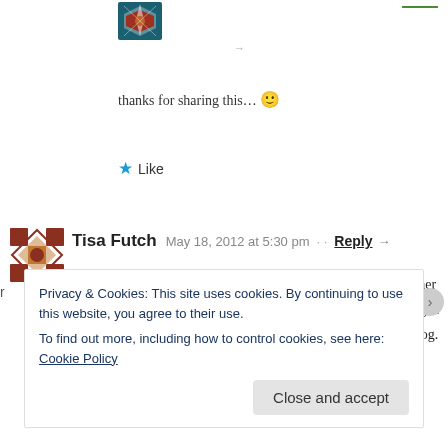[Figure (illustration): Decorative avatar icon with geometric cross/star pattern in brown and blue at the top of the page]
thanks for sharing this… 🙂
★ Like
[Figure (illustration): Decorative avatar icon with geometric cross/star pattern in brown and white for commenter Tisa Futch]
Tisa Futch  May 18, 2012 at 5:30 pm  ··  Reply →
Don't forget to include a card written by the student. As a teacher notes from my students are the most precious gifts. Of course gift cards are nice as well. Thanks for the tips, Gina. I love your blog.
Privacy & Cookies: This site uses cookies. By continuing to use this website, you agree to their use.
To find out more, including how to control cookies, see here: Cookie Policy
Close and accept